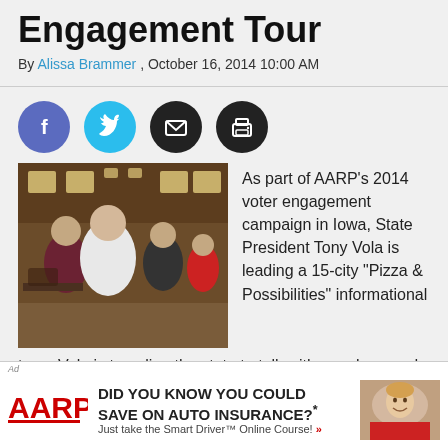Engagement Tour
By Alissa Brammer , October 16, 2014 10:00 AM
[Figure (other): Social media sharing icons: Facebook, Twitter, Email, Print]
[Figure (photo): People standing and talking inside a restaurant or community room setting.]
As part of AARP's 2014 voter engagement campaign in Iowa, State President Tony Vola is leading a 15-city "Pizza & Possibilities" informational tour.  Vola is traveling the state to talk with members and
[Figure (other): AARP advertisement: DID YOU KNOW YOU COULD SAVE ON AUTO INSURANCE?* Just take the Smart Driver™ Online Course! with AARP logo and photo of smiling woman.]